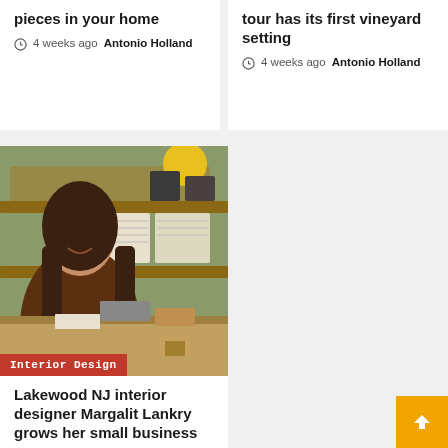pieces in your home
4 weeks ago  Antonio Holland
tour has its first vineyard setting
4 weeks ago  Antonio Holland
[Figure (photo): Woman smiling behind a counter in an interior design store with shelving units, baskets, and products in the background. Category badge: Interior Design]
Lakewood NJ interior designer Margalit Lankry grows her small business
4 weeks ago  Antonio